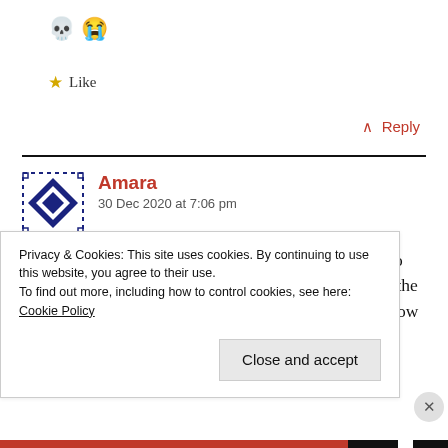💀😭
★ Like
^ Reply
Amara
30 Dec 2020 at 7:06 pm

Also, I'm not nearly as introverted as you are but Omo my first year in uni was sooooo weird! I don't stay in the dorm and when I got to my apartment I didn't know how to socialize with my neighbors omg! I was lowkey
Privacy & Cookies: This site uses cookies. By continuing to use this website, you agree to their use.
To find out more, including how to control cookies, see here: Cookie Policy

Close and accept